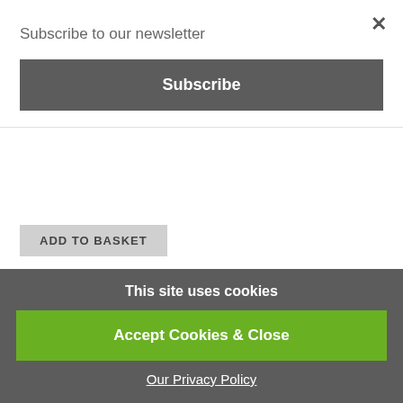Subscribe to our newsletter
Subscribe
ADD TO BASKET
NEWSLETTER
Sign up to recieve our latest news & offers
Email address
This site uses cookies
Accept Cookies & Close
Our Privacy Policy